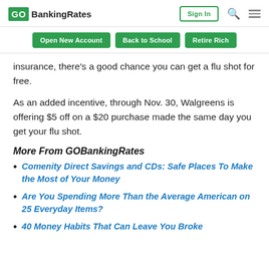GOBankingRates | Sign In
Open New Account | Back to School | Retire Rich
insurance, there's a good chance you can get a flu shot for free.
As an added incentive, through Nov. 30, Walgreens is offering $5 off on a $20 purchase made the same day you get your flu shot.
More From GOBankingRates
Comenity Direct Savings and CDs: Safe Places To Make the Most of Your Money
Are You Spending More Than the Average American on 25 Everyday Items?
40 Money Habits That Can Leave You Broke